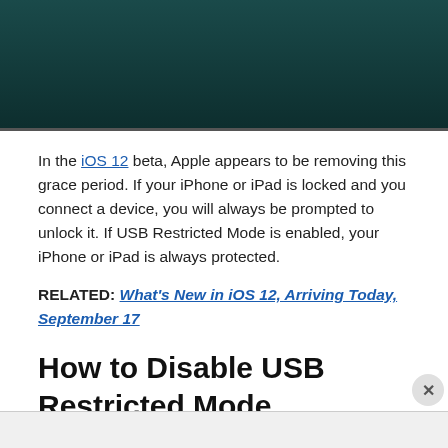[Figure (photo): Dark teal/dark green background image, partially visible at the top of the page]
In the iOS 12 beta, Apple appears to be removing this grace period. If your iPhone or iPad is locked and you connect a device, you will always be prompted to unlock it. If USB Restricted Mode is enabled, your iPhone or iPad is always protected.
RELATED: What's New in iOS 12, Arriving Today, September 17
How to Disable USB Restricted Mode